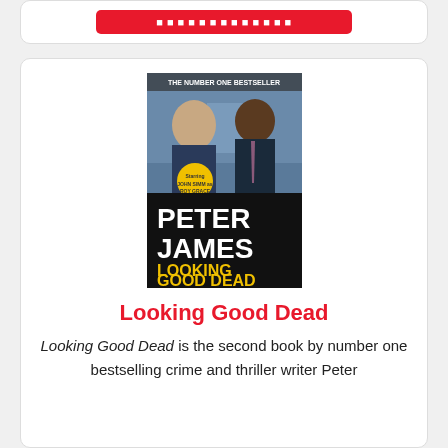[Figure (other): Red button/banner at top of card, partially visible]
[Figure (photo): Book cover for 'Looking Good Dead' by Peter James. Shows two men in suits, with 'THE NUMBER ONE BESTSELLER' at top, a yellow starburst badge, 'PETER JAMES' in large white text, and 'LOOKING GOOD DEAD' in yellow text at the bottom.]
Looking Good Dead
Looking Good Dead is the second book by number one bestselling crime and thriller writer Peter